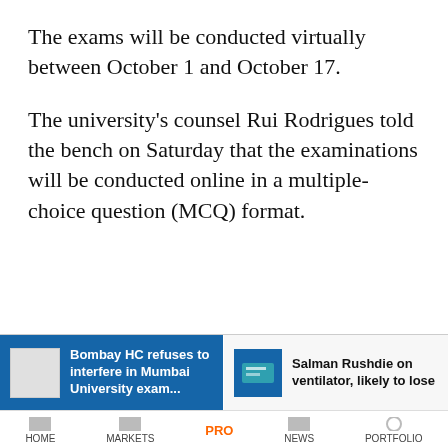The exams will be conducted virtually between October 1 and October 17.
The university's counsel Rui Rodrigues told the bench on Saturday that the examinations will be conducted online in a multiple-choice question (MCQ) format.
Bombay HC refuses to interfere in Mumbai [University examinations] | Salman Rushdie on ventilator, likely to lose | HOME | MARKETS | PRO | NEWS | PORTFOLIO